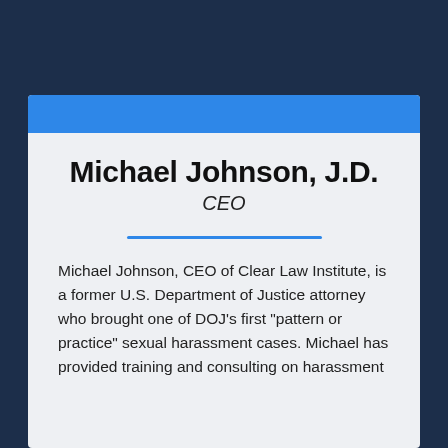Michael Johnson, J.D.
CEO
Michael Johnson, CEO of Clear Law Institute, is a former U.S. Department of Justice attorney who brought one of DOJ’s first “pattern or practice” sexual harassment cases. Michael has provided training and consulting on harassment